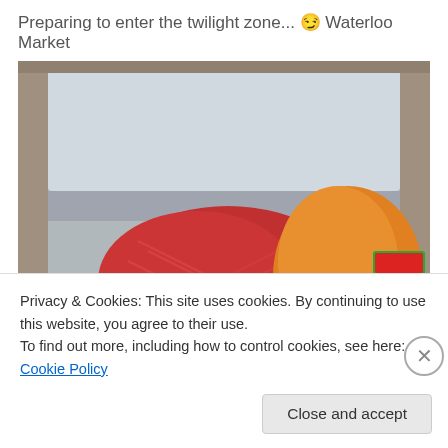Preparing to enter the twilight zone... 😏 Waterloo Market
[Figure (photo): Open car boot/trunk packed with grocery bags and sacks including red mesh bags of produce, large orange sack, red and white rice sacks, green branded bags, and a yellow container, photographed at Waterloo Market.]
Privacy & Cookies: This site uses cookies. By continuing to use this website, you agree to their use.
To find out more, including how to control cookies, see here: Cookie Policy